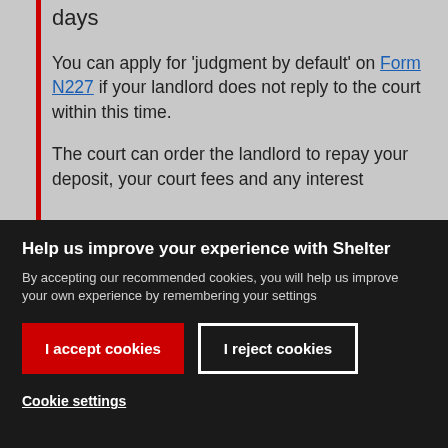days
You can apply for 'judgment by default' on Form N227 if your landlord does not reply to the court within this time.
The court can order the landlord to repay your deposit, your court fees and any interest
Help us improve your experience with Shelter
By accepting our recommended cookies, you will help us improve your own experience by remembering your settings
I accept cookies
I reject cookies
Cookie settings